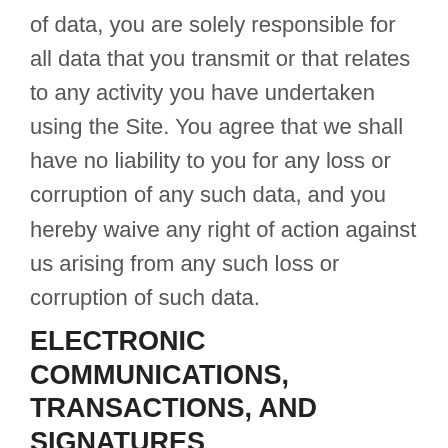of data, you are solely responsible for all data that you transmit or that relates to any activity you have undertaken using the Site. You agree that we shall have no liability to you for any loss or corruption of any such data, and you hereby waive any right of action against us arising from any such loss or corruption of such data.
ELECTRONIC COMMUNICATIONS, TRANSACTIONS, AND SIGNATURES
Visiting the Site, sending us emails, and completing online forms constitute electronic communications. You consent to receive electronic communications, and you agree